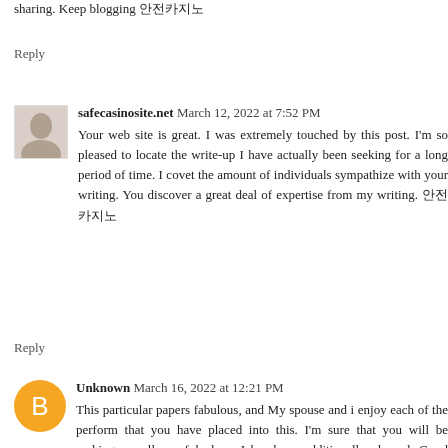sharing. Keep blogging 안전카지노
Reply
safecasinosite.net  March 12, 2022 at 7:52 PM
Your web site is great. I was extremely touched by this post. I'm so pleased to locate the write-up I have actually been seeking for a long period of time. I covet the amount of individuals sympathize with your writing. You discover a great deal of expertise from my writing. 안전카지노
Reply
Unknown  March 16, 2022 at 12:21 PM
This particular papers fabulous, and My spouse and i enjoy each of the perform that you have placed into this. I'm sure that you will be making a really useful place. I has been additionally pleased. Good perform! Satta number
Reply